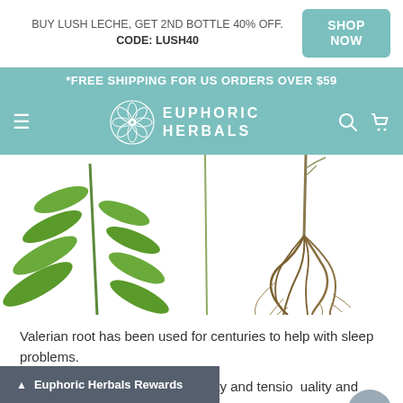BUY LUSH LECHE, GET 2ND BOTTLE 40% OFF. CODE: LUSH40
SHOP NOW
*FREE SHIPPING FOR US ORDERS OVER $59
EUPHORIC HERBALS
[Figure (photo): Herb plants: green leafy plant stem on left and valerian root with roots hanging on the right, against white background]
Valerian root has been used for centuries to help with sleep problems.
It acts as a nervine to calm anxiety and tension... quality and help you fall
Euphoric Herbals Rewards